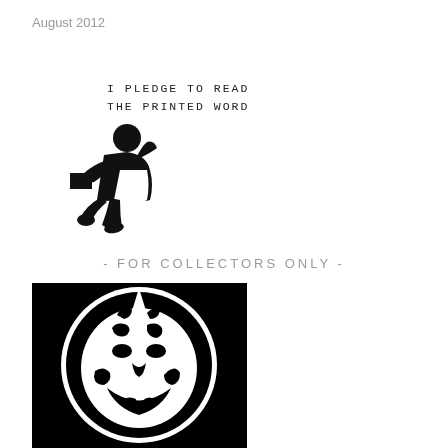August 2012
[Figure (illustration): Black silhouette of a person sitting and reading a book, with typewriter-font text reading 'I PLEDGE TO READ THE PRINTED WORD']
- FOR COLLECTORS ONLY -
[Figure (illustration): Black and white circular illustration of a smiling face with decorative swirling patterns, resembling a stylized moon or jester face on a black background]